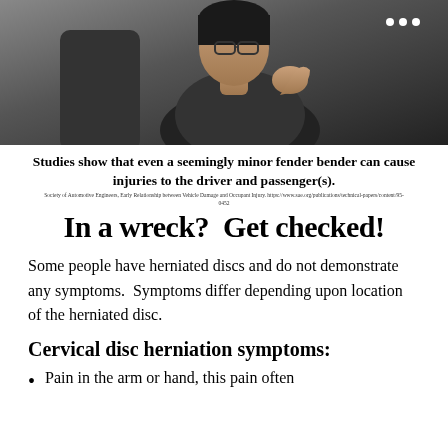[Figure (photo): A person sitting in a car, holding their neck/shoulder area in pain, wearing glasses and a dark sleeveless top. Three dots menu icon visible in upper right corner.]
Studies show that even a seemingly minor fender bender can cause injuries to the driver and passenger(s).
Society of Automotive Engineers, Early Relationship between Vehicle Damage and Occupant Injury. https://www.sae.org/publications/technical-papers/content/95-0452
In a wreck?  Get checked!
Some people have herniated discs and do not demonstrate any symptoms.  Symptoms differ depending upon location of the herniated disc.
Cervical disc herniation symptoms:
Pain in the arm or hand, this pain often